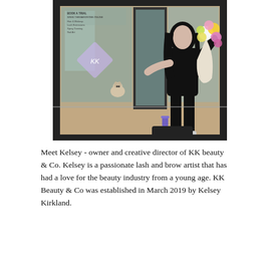[Figure (photo): A woman dressed in all black holding a colorful flower bouquet, standing in front of a salon storefront with a small dog visible through the glass door. A diamond-shaped KK logo is on the window. A black mat is on the ground.]
Meet Kelsey - owner and creative director of KK beauty & Co. Kelsey is a passionate lash and brow artist that has had a love for the beauty industry from a young age. KK Beauty & Co was established in March 2019 by Kelsey Kirkland.